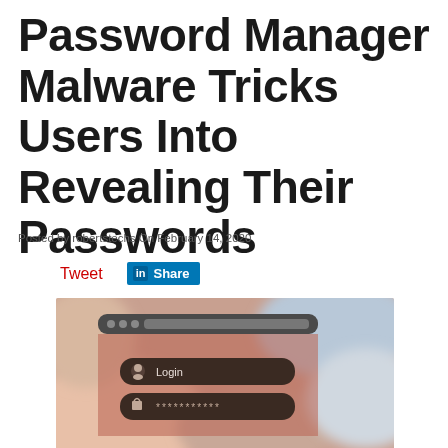Password Manager Malware Tricks Users Into Revealing Their Passwords
Posted by robertstechs On February 14, 2020
Tweet  Share
[Figure (screenshot): A simulated browser window showing a login form with 'Login' text field and a password field filled with asterisks, overlaid on a blurred photo background of hands.]